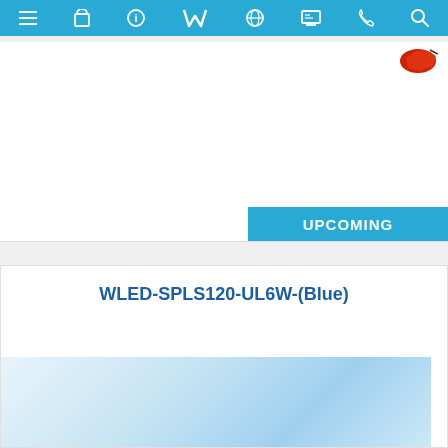Navigation bar with menu, bag, info, W logo, globe, display, phone, search icons
[Figure (screenshot): Website product card with UPCOMING badge and partial product image in upper right]
WLED-SPLS120-UL6W-(Blue)
[Figure (photo): Light blue gradient product display area at bottom of second card]